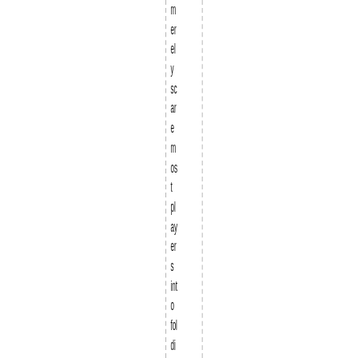merely scare most players into folding and not laying a